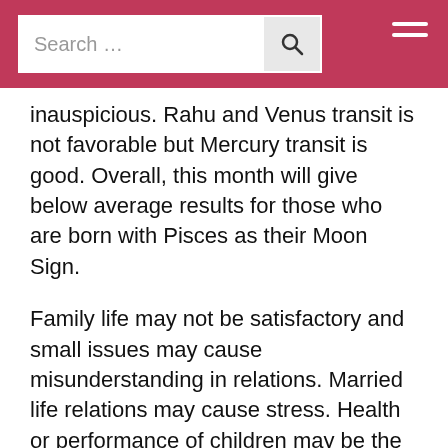Search ...
inauspicious. Rahu and Venus transit is not favorable but Mercury transit is good. Overall, this month will give below average results for those who are born with Pisces as their Moon Sign.
Family life may not be satisfactory and small issues may cause misunderstanding in relations. Married life relations may cause stress. Health or performance of children may be the cause of worry. This is not a favorable time for lovers.  Relations with fathers may not be cordial.
Atmosphere at work place will be generally favorable but you may feel lack of concentration. You may be working on some new planning which will be fruitful.    Financial position will improve. Any important venture or project should be executed in time. Those who are in partnership may not find this period favorable. Investing in stocks or